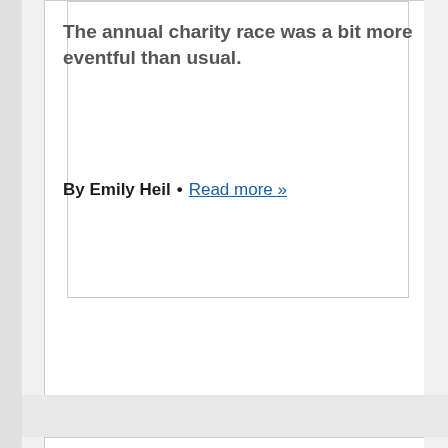The annual charity race was a bit more eventful than usual.
By Emily Heil • Read more »
D.C. judge gives Michael Brown, the city councilman convicted of taking bribes,